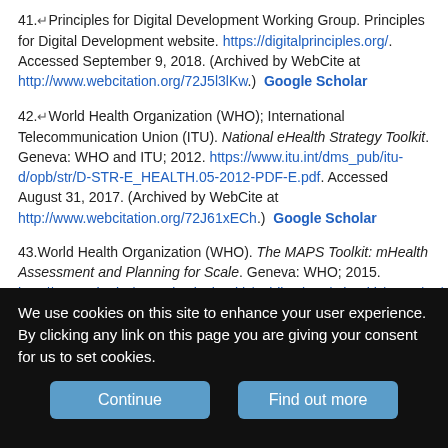41. Principles for Digital Development Working Group. Principles for Digital Development website. https://digitalprinciples.org/. Accessed September 9, 2018. (Archived by WebCite at http://www.webcitation.org/72J5l3lKw.) Google Scholar
42. World Health Organization (WHO); International Telecommunication Union (ITU). National eHealth Strategy Toolkit. Geneva: WHO and ITU; 2012. https://www.itu.int/dms_pub/itu-d/opb/str/D-STR-E_HEALTH.05-2012-PDF-E.pdf. Accessed August 31, 2017. (Archived by WebCite at http://www.webcitation.org/72J61xECh.) Google Scholar
43. World Health Organization (WHO). The MAPS Toolkit: mHealth Assessment and Planning for Scale. Geneva: WHO; 2015. http://www.who.int/reproductivehealth/publications/mhealth/maps/en/. Accessed August 31, 2017. (Archived by WebCite at http://www.webcitation.org/72J6kd8nn.) Google Scholar
We use cookies on this site to enhance your user experience. By clicking any link on this page you are giving your consent for us to set cookies.